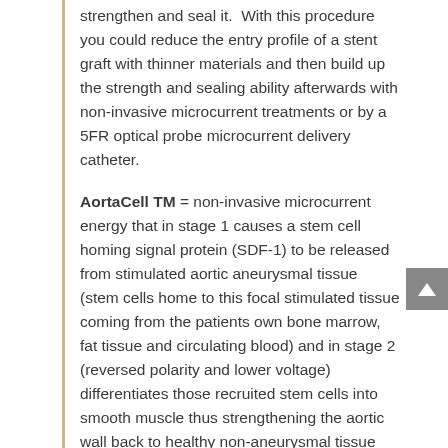strengthen and seal it.  With this procedure you could reduce the entry profile of a stent graft with thinner materials and then build up the strength and sealing ability afterwards with non-invasive microcurrent treatments or by a 5FR optical probe microcurrent delivery catheter.
AortaCell TM = non-invasive microcurrent energy that in stage 1 causes a stem cell homing signal protein (SDF-1) to be released from stimulated aortic aneurysmal tissue (stem cells home to this focal stimulated tissue coming from the patients own bone marrow, fat tissue and circulating blood) and in stage 2 (reversed polarity and lower voltage) differentiates those recruited stem cells into smooth muscle thus strengthening the aortic wall back to healthy non-aneurysmal tissue sufficiently strong to eliminate continued expansion of the aneurysm.  This method follows exactly the natural tissue regeneration method